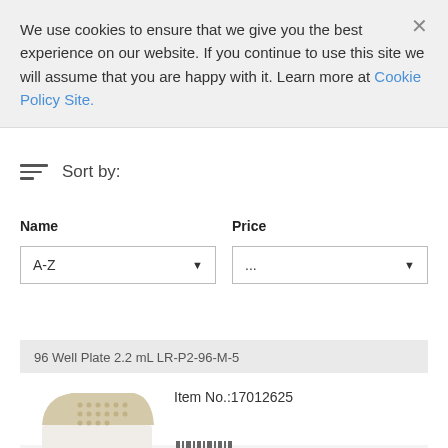We use cookies to ensure that we give you the best experience on our website. If you continue to use this site we will assume that you are happy with it. Learn more at Cookie Policy Site.
Sort by:
Name
A-Z
Price
...
96 Well Plate 2.2 mL LR-P2-96-M-5
Item No.:17012625
[Figure (photo): Photo of a white 96-well plate storage box with a beige/cream colored lid partially open, showing the wells inside.]
[Figure (other): Barcode icon with vertical bars of varying widths]